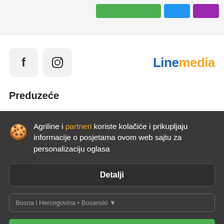[Figure (screenshot): Top bar with green, blue, and purple buttons on a light gray background]
[Figure (logo): Social media icons (Facebook, Instagram) and Linemedia logo]
Preduzeće
O nama
Pomoć
Kontakt
Agriline i partneri koriste kolačiće i prikupljaju informacije o posjetama ovom web sajtu za personalizaciju oglasa
Detalji
Slažem se i zatvori
N
Agriline